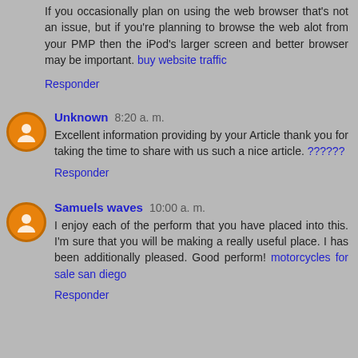If you occasionally plan on using the web browser that's not an issue, but if you're planning to browse the web alot from your PMP then the iPod's larger screen and better browser may be important. buy website traffic
Responder
Unknown 8:20 a. m.
Excellent information providing by your Article thank you for taking the time to share with us such a nice article. ??????
Responder
Samuels waves 10:00 a. m.
I enjoy each of the perform that you have placed into this. I'm sure that you will be making a really useful place. I has been additionally pleased. Good perform! motorcycles for sale san diego
Responder